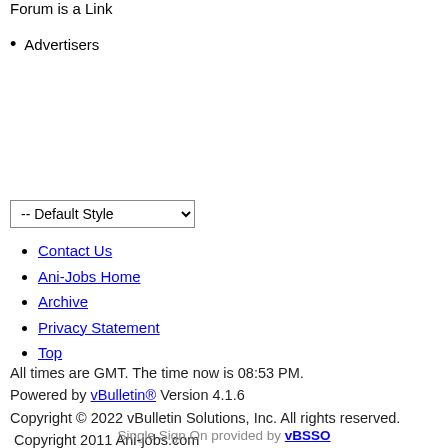Forum is a Link
Advertisers
Contact Us
Ani-Jobs Home
Archive
Privacy Statement
Top
All times are GMT. The time now is 08:53 PM.
Powered by vBulletin® Version 4.1.6
Copyright © 2022 vBulletin Solutions, Inc. All rights reserved.
Copyright 2011 Ani-jobs.com
Single Sign On provided by vBSSO